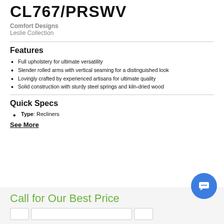CL767/PRSWV
Comfort Designs
Leslie Collection
Features
Full upholstery for ultimate versatility
Slender rolled arms with vertical seaming for a distinguished look
Lovingly crafted by experienced artisans for ultimate quality
Solid construction with sturdy steel springs and kiln-dried wood
Quick Specs
Type: Recliners
See More
Call for Our Best Price